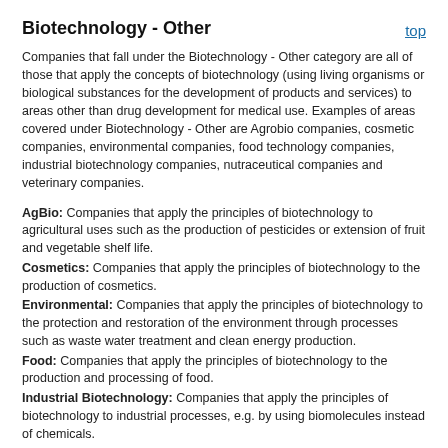Biotechnology - Other
Companies that fall under the Biotechnology - Other category are all of those that apply the concepts of biotechnology (using living organisms or biological substances for the development of products and services) to areas other than drug development for medical use. Examples of areas covered under Biotechnology - Other are Agrobio companies, cosmetic companies, environmental companies, food technology companies, industrial biotechnology companies, nutraceutical companies and veterinary companies.
AgBio: Companies that apply the principles of biotechnology to agricultural uses such as the production of pesticides or extension of fruit and vegetable shelf life.
Cosmetics: Companies that apply the principles of biotechnology to the production of cosmetics.
Environmental: Companies that apply the principles of biotechnology to the protection and restoration of the environment through processes such as waste water treatment and clean energy production.
Food: Companies that apply the principles of biotechnology to the production and processing of food.
Industrial Biotechnology: Companies that apply the principles of biotechnology to industrial processes, e.g. by using biomolecules instead of chemicals.
Nutraceuticals: Companies that develop natural products for a therapeutic purpose.